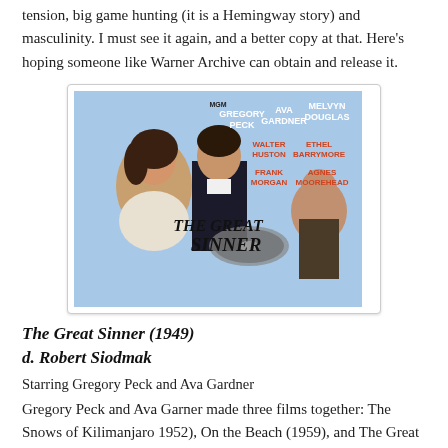tension, big game hunting (it is a Hemingway story) and masculinity. I must see it again, and a better copy at that. Here's hoping someone like Warner Archive can obtain and release it.
[Figure (photo): Movie poster for 'The Great Sinner' (1949) showing Gregory Peck and Ava Gardner in a romantic pose, with cast names: Gregory Peck, Ava Gardner, Melvyn Douglas, Walter Huston, Ethel Barrymore, Frank Morgan, Agnes Moorehead, and the title 'The Great Sinner' with a roulette wheel graphic.]
The Great Sinner (1949)
d. Robert Siodmak
Starring Gregory Peck and Ava Gardner
Gregory Peck and Ava Garner made three films together: The Snows of Kilimanjaro 1952), On the Beach (1959), and The Great Sinner (1949) which was their first pairing. The two were great friends, and that is always evident in their performances together. I found The Great Sinner through Warner Archive and was